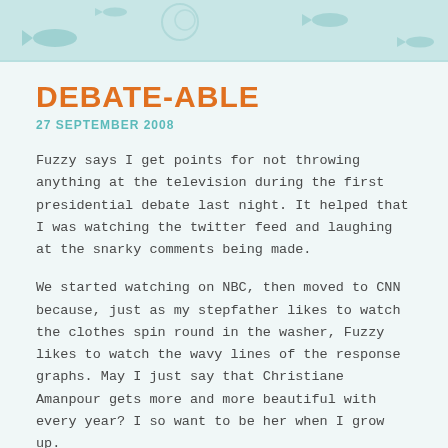DEBATE-ABLE
27 SEPTEMBER 2008
Fuzzy says I get points for not throwing anything at the television during the first presidential debate last night. It helped that I was watching the twitter feed and laughing at the snarky comments being made.
We started watching on NBC, then moved to CNN because, just as my stepfather likes to watch the clothes spin round in the washer, Fuzzy likes to watch the wavy lines of the response graphs. May I just say that Christiane Amanpour gets more and more beautiful with every year? I so want to be her when I grow up.
I'm not going to quote any of the responses. As debates go,